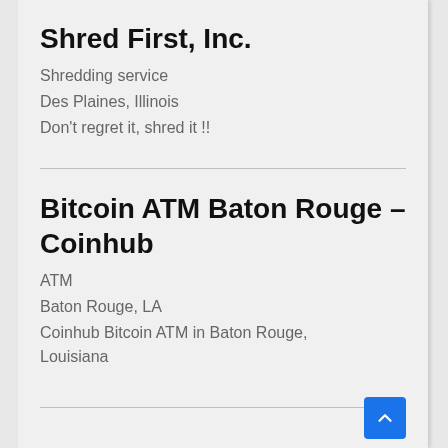Shred First, Inc.
Shredding service
Des Plaines, Illinois
Don't regret it, shred it !!
Bitcoin ATM Baton Rouge – Coinhub
ATM
Baton Rouge, LA
Coinhub Bitcoin ATM in Baton Rouge, Louisiana
Airoxo Air and Heating